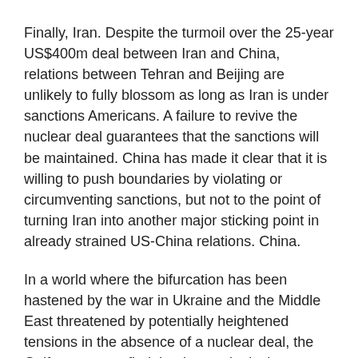Finally, Iran. Despite the turmoil over the 25-year US$400m deal between Iran and China, relations between Tehran and Beijing are unlikely to fully blossom as long as Iran is under sanctions Americans. A failure to revive the nuclear deal guarantees that the sanctions will be maintained. China has made it clear that it is willing to push boundaries by violating or circumventing sanctions, but not to the point of turning Iran into another major sticking point in already strained US-China relations. China.
In a world where the bifurcation has been hastened by the war in Ukraine and the Middle East threatened by potentially heightened tensions in the absence of a nuclear deal, the Gulf states may find that increasingly the principle of " you are with us or against us" becomes the norm. The Gulf states hedged their bets in the early months of the war in Ukraine, but their ability to do so may be coming to an end.
Already Saudi Arabia and the United Arab Emirates are beginning to